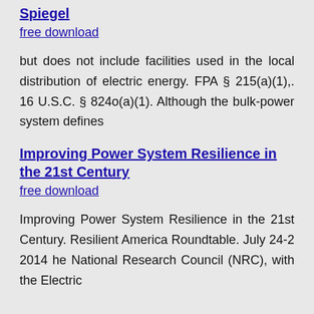Spiegel
free download
but does not include facilities used in the local distribution of electric energy. FPA § 215(a)(1),. 16 U.S.C. § 824o(a)(1). Although the bulk-power system defines
Improving Power System Resilience in the 21st Century
free download
Improving Power System Resilience in the 21st Century. Resilient America Roundtable. July 24-2 2014 he National Research Council (NRC), with the Electric